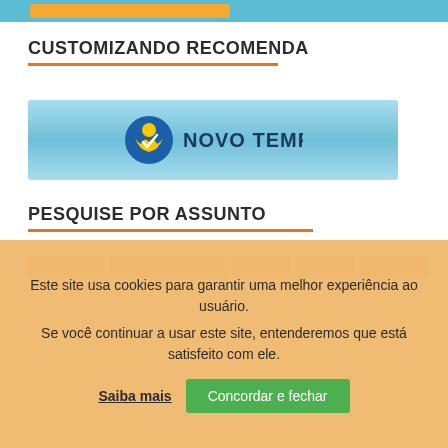[Figure (screenshot): Top blue banner strip with orange inner bar, partial website UI element]
CUSTOMIZANDO RECOMENDA
[Figure (logo): Novo Tempo logo on blue gradient banner background. Shows a yellow figure with arms raised and the text NOVO TEMPO in dark letters.]
PESQUISE POR ASSUNTO
[Figure (screenshot): Row of orange tag buttons: Acrilex, Autores Convidados, blusa, bolsa, calça and a partially visible second row]
Este site usa cookies para garantir uma melhor experiência ao usuário.
Se você continuar a usar este site, entenderemos que está satisfeito com ele.
Saiba mais   Concordar e fechar